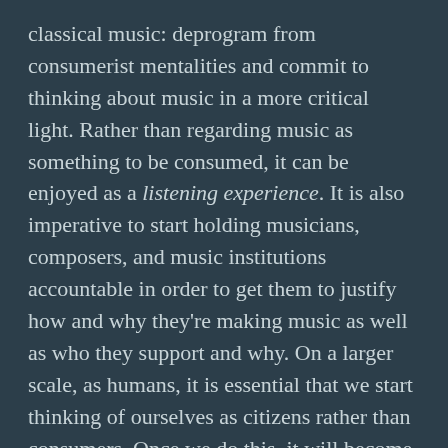classical music: deprogram from consumerist mentalities and commit to thinking about music in a more critical light. Rather than regarding music as something to be consumed, it can be enjoyed as a listening experience. It is also imperative to start holding musicians, composers, and music institutions accountable in order to get them to justify how and why they're making music as well as who they support and why. On a larger scale, as humans, it is essential that we start thinking of ourselves as citizens rather than consumers. Once we do this, it will become more difficult for corporations with neoliberal interests to justify their products or the system that upholds their dominance. Even more importantly, we must think of ourselves as citizens as part of a collective; once we do this, universal concerns about inequality, racism, and sexism will